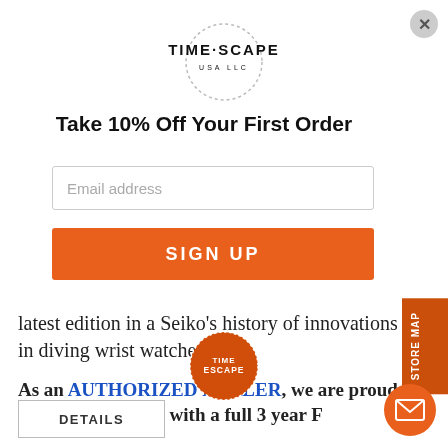[Figure (logo): TIME SCAPE USA LLC circular dotted logo]
Take 10% Off Your First Order
Email address
SIGN UP
latest edition in a Seiko's history of innovations in diving wrist watches.
As an AUTHORIZED DEALER, we are proud to offer this watch with a full 3 year Factory Warranty.
DETAILS
STORE MAP
[Figure (logo): TimeScape circular orange watermark logo]
[Figure (illustration): Orange email icon circle]